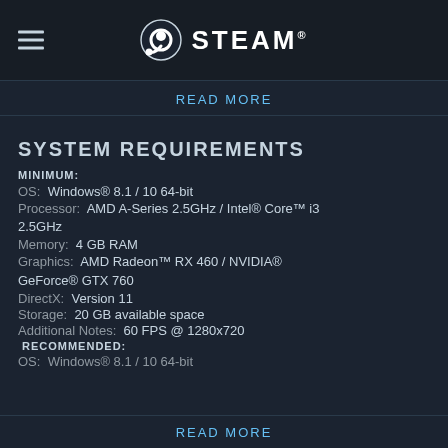STEAM
READ MORE
SYSTEM REQUIREMENTS
MINIMUM:
OS: Windows® 8.1 / 10 64-bit
Processor: AMD A-Series 2.5GHz / Intel® Core™ i3 2.5GHz
Memory: 4 GB RAM
Graphics: AMD Radeon™ RX 460 / NVIDIA® GeForce® GTX 760
DirectX: Version 11
Storage: 20 GB available space
Additional Notes: 60 FPS @ 1280x720
RECOMMENDED:
OS: Windows® 8.1 / 10 64-bit
READ MORE